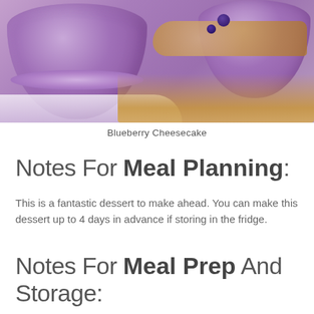[Figure (photo): Close-up photo of blueberry cheesecake in purple/violet glass jars with granola crumbs and blueberries scattered on a white surface beside a spoon]
Blueberry Cheesecake
Notes For Meal Planning:
This is a fantastic dessert to make ahead. You can make this dessert up to 4 days in advance if storing in the fridge.
Notes For Meal Prep And Storage: